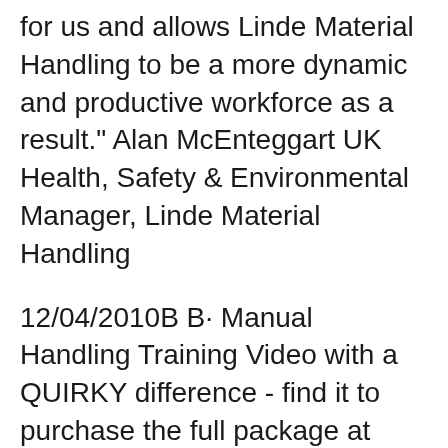for us and allows Linde Material Handling to be a more dynamic and productive workforce as a result." Alan McEnteggart UK Health, Safety & Environmental Manager, Linde Material Handling
12/04/2010В В· Manual Handling Training Video with a QUIRKY difference - find it to purchase the full package at www.safetyvideoshop.com.au. Manual handling training doesn't need to be boring - вЂ¦ Manual Handling; Display Screen Equipment; Ergonomics; Risk Assessment Videos. Manual Handling Videos Series 1; Manual Handling Videos Series 2; BeSMART Videos; Miscellaneous Videos; Research and